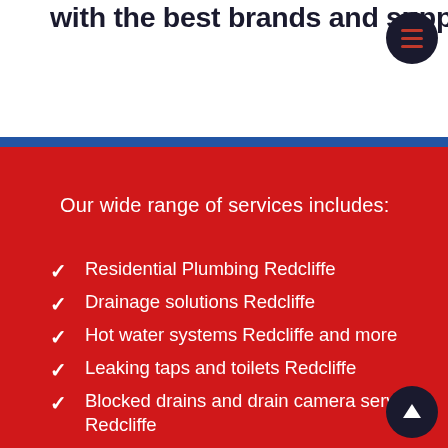allow us to develop strong partnerships with the best brands and suppliers in the business, including:
Our wide range of services includes:
Residential Plumbing Redcliffe
Drainage solutions Redcliffe
Hot water systems Redcliffe and more
Leaking taps and toilets Redcliffe
Blocked drains and drain camera service Redcliffe
Drainage repairs Redcliffe